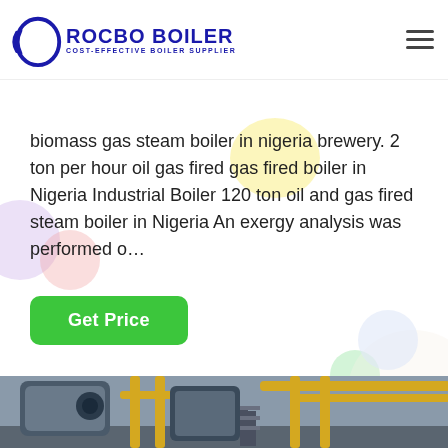[Figure (logo): Rocbo Boiler logo with circular blue icon and text 'ROCBO BOILER - COST-EFFECTIVE BOILER SUPPLIER']
biomass gas steam boiler in nigeria brewery. 2 ton per hour oil gas fired gas fired boiler in Nigeria Industrial Boiler 120 ton oil and gas fired steam boiler in Nigeria An exergy analysis was performed o…
Get Price
[Figure (photo): Industrial boiler facility with large cylindrical boilers, yellow pipes and metal scaffolding. Overlay shows '10% DISCOUNT' banner and a customer service representative with headset. Bottom text '7X24 Online']